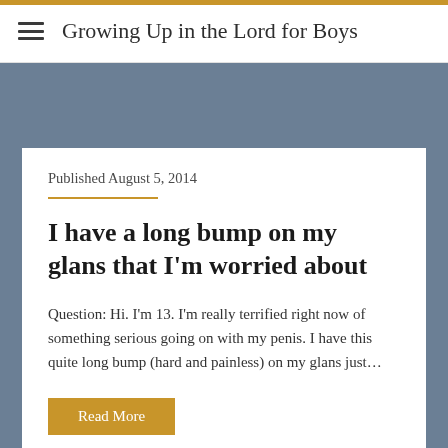Growing Up in the Lord for Boys
Published August 5, 2014
I have a long bump on my glans that I'm worried about
Question: Hi. I'm 13. I'm really terrified right now of something serious going on with my penis. I have this quite long bump (hard and painless) on my glans just…
Read More